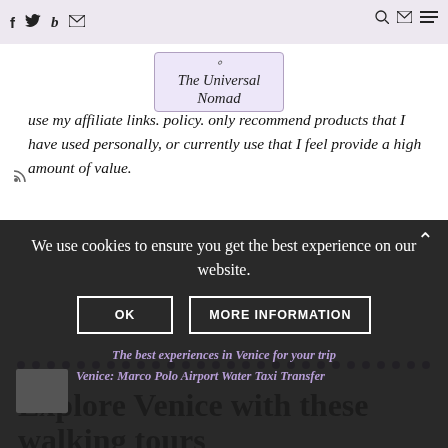f  twitter  b  email  [RSS]  [search] [email] [menu]
[Figure (logo): The Universal Nomad logo in a rounded rectangle border, italic serif font]
use my affiliate links. policy. only recommend products that I have used personally, or currently use that I feel provide a high amount of value.
[Figure (other): Dotted purple divider line]
Explore Venice with these walking tours
We use cookies to ensure you get the best experience on our website.
The best experiences in Venice for your trip
Venice: Marco Polo Airport Water Taxi Transfer